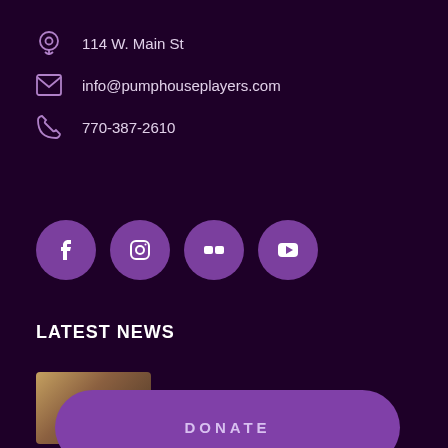114 W. Main St
info@pumphouseplayers.com
770-387-2610
[Figure (infographic): Social media icon buttons: Facebook, Instagram, Flickr, YouTube — round purple circles with white icons]
LATEST NEWS
[Figure (photo): Thumbnail image for Pumpie Awards 2021-22 news item]
Pumpie Awards | 2021-22
DONATE
[Figure (photo): Thumbnail image for 2021-22 Unlimited Season news item]
2021-22 Unlimited Season